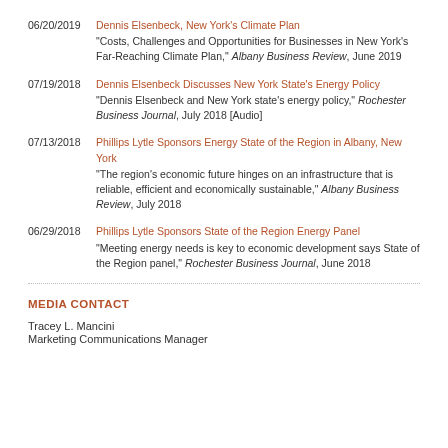06/20/2019 — Dennis Elsenbeck, New York's Climate Plan. "Costs, Challenges and Opportunities for Businesses in New York's Far-Reaching Climate Plan," Albany Business Review, June 2019
07/19/2018 — Dennis Elsenbeck Discusses New York State's Energy Policy. "Dennis Elsenbeck and New York state's energy policy," Rochester Business Journal, July 2018 [Audio]
07/13/2018 — Phillips Lytle Sponsors Energy State of the Region in Albany, New York. "The region's economic future hinges on an infrastructure that is reliable, efficient and economically sustainable," Albany Business Review, July 2018
06/29/2018 — Phillips Lytle Sponsors State of the Region Energy Panel. "Meeting energy needs is key to economic development says State of the Region panel," Rochester Business Journal, June 2018
MEDIA CONTACT
Tracey L. Mancini
Marketing Communications Manager